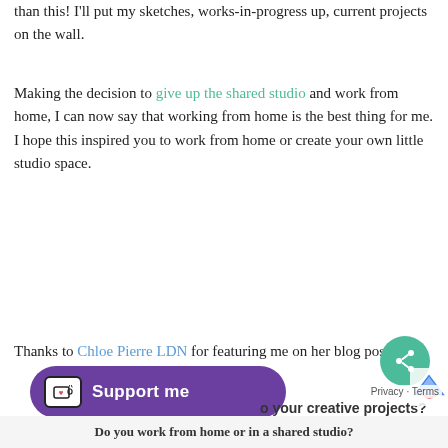than this! I'll put my sketches, works-in-progress up, current projects on the wall.
Making the decision to give up the shared studio and work from home, I can now say that working from home is the best thing for me. I hope this inspired you to work from home or create your own little studio space.
Thanks to Chloe Pierre LDN for featuring me on her blog post.
[Figure (other): Purple 'Support me' button with Ko-fi cup icon]
[Figure (other): Green circular share button with share icon]
o your creative projects?
Do you work from home or in a shared studio?